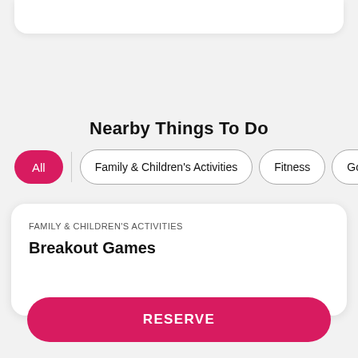Nearby Things To Do
All
Family & Children's Activities
Fitness
Golf
FAMILY & CHILDREN'S ACTIVITIES
Breakout Games
RESERVE